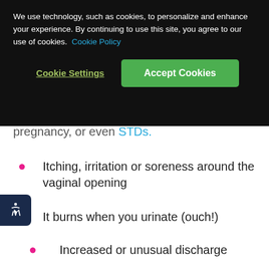We use technology, such as cookies, to personalize and enhance your experience. By continuing to use this site, you agree to our use of cookies. Cookie Policy
Cookie Settings
Accept Cookies
pregnancy, or even STDs.
Itching, irritation or soreness around the vaginal opening
It burns when you urinate (ouch!)
Increased or unusual discharge
Swelling in the genital area